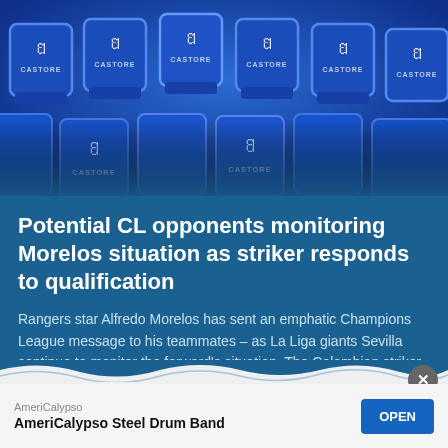[Figure (photo): Blue stadium seats with Castore logo (white bird/wing emblem) and 'CASTORE' text printed on the backrests, viewed from above at an angle.]
Potential CL opponents monitoring Morelos situation as striker responds to qualification
Rangers star Alfredo Morelos has sent an emphatic Champions League message to his teammates – as La Liga giants Sevilla continue to monitor the forward's situation. The Colombian striker, 26,...
1 week ago  Cameron Willis
[Figure (screenshot): App advertisement for AmeriCalypso showing 'AmeriCalypso Steel Drum Band' with an OPEN button, partially visible at the bottom of the page.]